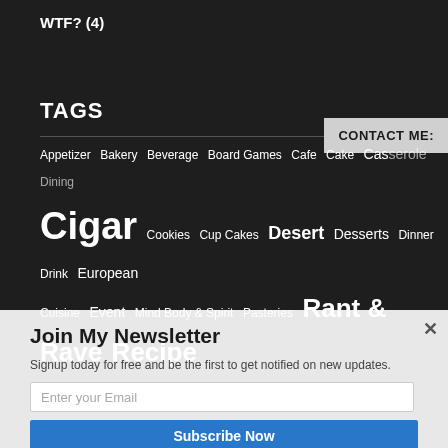WTF? (4)
TAGS
CONTACT ME:
Appetizer Bakery Beverage Board Games Cafe Cake Cassserole Dining Cigar Cookies Cup Cakes Desert Desserts Dinner Drink European Cuisine Event Mind Body & Spirit Pasteries Rant & Rave Recipe
Join My Newsletter
Signup today for free and be the first to get notified on new updates.
Enter your Email
Subscribe Now